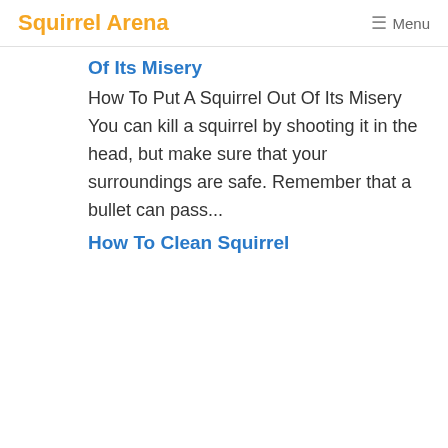Squirrel Arena  ≡ Menu
Of Its Misery
How To Put A Squirrel Out Of Its Misery   You can kill a squirrel by shooting it in the head, but make sure that your surroundings are safe. Remember that a bullet can pass...
How To Clean Squirrel